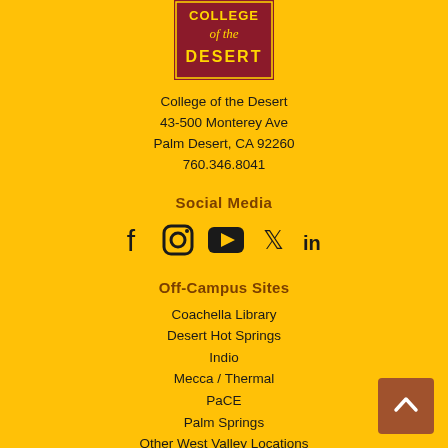[Figure (logo): College of the Desert logo — dark red/maroon rectangle with gold text reading COLLEGE of the DESERT]
College of the Desert
43-500 Monterey Ave
Palm Desert, CA 92260
760.346.8041
Social Media
[Figure (infographic): Row of social media icons: Facebook, Instagram, YouTube, Twitter, LinkedIn]
Off-Campus Sites
Coachella Library
Desert Hot Springs
Indio
Mecca / Thermal
PaCE
Palm Springs
Other West Valley Locations